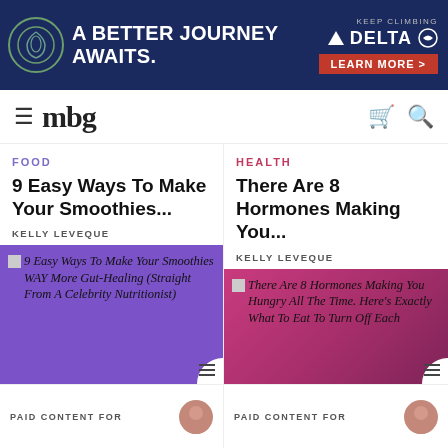[Figure (other): Delta Airlines banner ad: 'A Better Journey Awaits. Delta. Keep Climbing. Learn More.']
mbg
FOOD
HEALTH
9 Easy Ways To Make Your Smoothies...
There Are 8 Hormones Making You...
KELLY LEVEQUE
KELLY LEVEQUE
[Figure (photo): 9 Easy Ways To Make Your Smoothies WAY More Gut-Healing (Straight From A Celebrity Nutritionist) — purple background image card]
[Figure (photo): There Are 8 Hormones Making You Hungry All The Time. Here's Exactly What To Eat To Turn Off Each — pink/magenta background image card]
PAID CONTENT FOR
PAID CONTENT FOR